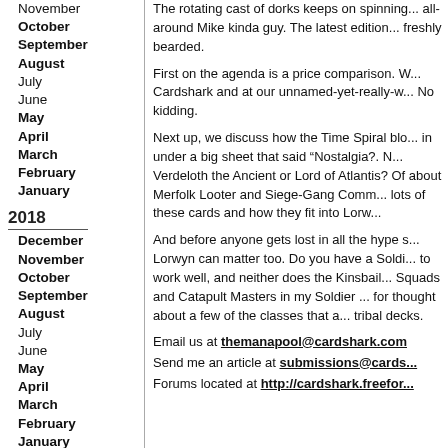November
October
September
August
July
June
May
April
March
February
January
2018
December
November
October
September
August
July
June
May
April
March
February
January
2017
December
November
October
September
August
The rotating cast of dorks keeps on spinning... all-around Mike kinda guy. The latest edition... freshly bearded.
First on the agenda is a price comparison. W... Cardshark and at our unnamed-yet-really-w... No kidding.
Next up, we discuss how the Time Spiral blo... in under a big sheet that said “Nostalgia?. N... Verdeloth the Ancient or Lord of Atlantis? Of about Merfolk Looter and Siege-Gang Comm... lots of these cards and how they fit into Lorw...
And before anyone gets lost in all the hype s... Lorwyn can matter too. Do you have a Soldi... to work well, and neither does the Kinsbail... Squads and Catapult Masters in my Soldier ... for thought about a few of the classes that a... tribal decks.
Email us at themanapool@cardshark.com
Send me an article at submissions@cards...
Forums located at http://cardshark.freefor...